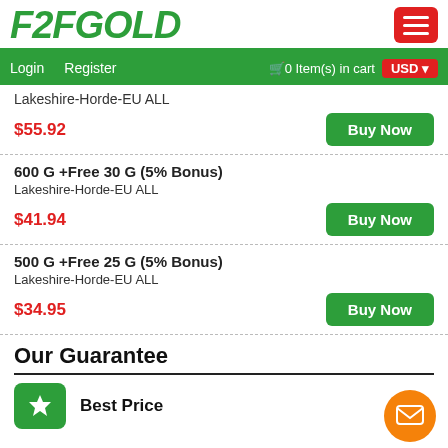F2FGOLD
Login   Register   0 Item(s) in cart   USD
Lakeshire-Horde-EU ALL
$55.92
Buy Now
600 G +Free 30 G (5% Bonus)
Lakeshire-Horde-EU ALL
$41.94
Buy Now
500 G +Free 25 G (5% Bonus)
Lakeshire-Horde-EU ALL
$34.95
Buy Now
Our Guarantee
Best Price